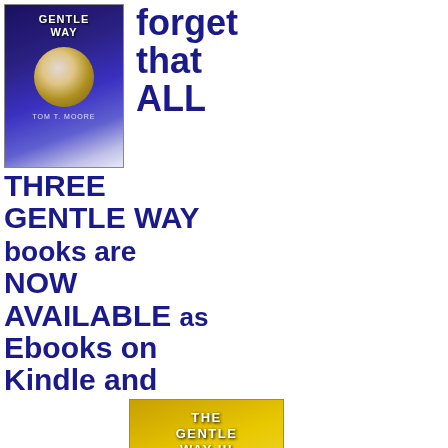[Figure (illustration): Book cover of 'The Gentle Way' - dark blue/purple cover with a glowing orb/light in the center]
forget that ALL THREE GENTLE WAY books are NOW AVAILABLE as Ebooks on Kindle and other services!  The books are great for presents for family and friends for
[Figure (illustration): Book cover of 'The Gentle Way III' - golden yellow cover with text 'Master Your Life' and subtitle text]